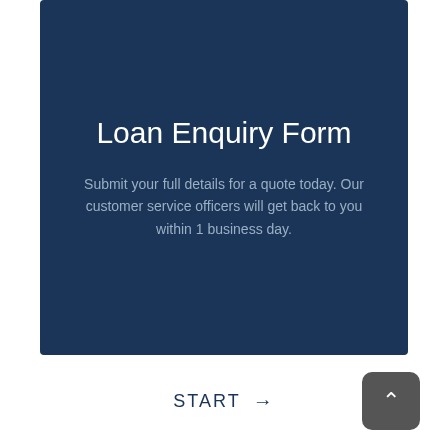Loan Enquiry Form
Submit your full details for a quote today. Our customer service officers will get back to you within 1 business day.
START →